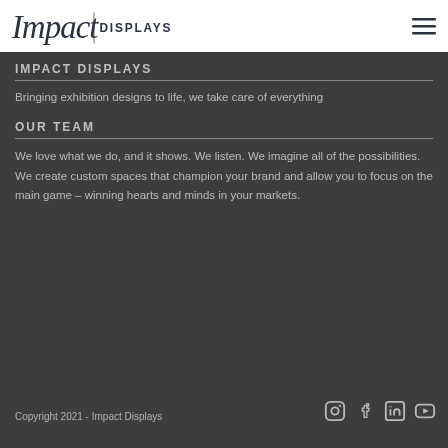Impact Displays
IMPACT DISPLAYS
Bringing exhibition designs to life, we take care of everything
OUR TEAM
We love what we do, and it shows. We listen. We imagine all of the possibilities. We create custom spaces that champion your brand and allow you to focus on the main game – winning hearts and minds in your markets.
Copyright 2021 - Impact Displays